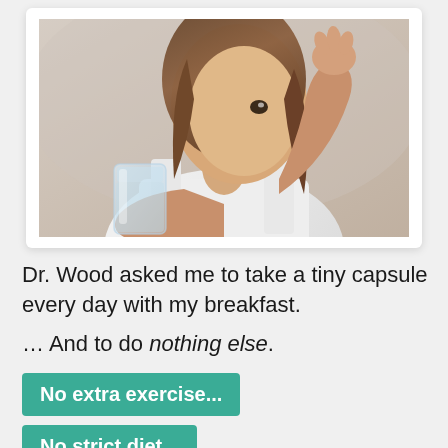[Figure (photo): Woman in white tank top holding a glass of water and taking a small capsule/pill with her fingers, photographed against a light grey background.]
Dr. Wood asked me to take a tiny capsule every day with my breakfast.
… And to do nothing else.
No extra exercise...
No strict diet...